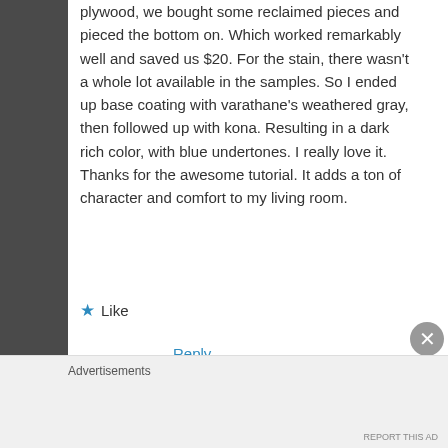plywood, we bought some reclaimed pieces and pieced the bottom on. Which worked remarkably well and saved us $20. For the stain, there wasn't a whole lot available in the samples. So I ended up base coating with varathane's weathered gray, then followed up with kona. Resulting in a dark rich color, with blue undertones. I really love it. Thanks for the awesome tutorial. It adds a ton of character and comfort to my living room.
★ Like
Reply
danalaureano
Advertisements
REPORT THIS AD